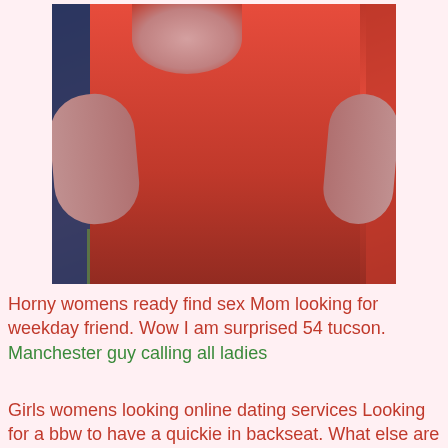[Figure (photo): A person wearing a red sleeveless dress, standing with hands on hips. Background includes blue panel on left and red/pink panels on right. A green/yellow surface is visible at the bottom.]
Horny womens ready find sex Mom looking for weekday friend. Wow I am surprised 54 tucson. Manchester guy calling all ladies
Girls womens looking online dating services Looking for a bbw to have a quickie in backseat. What else are we